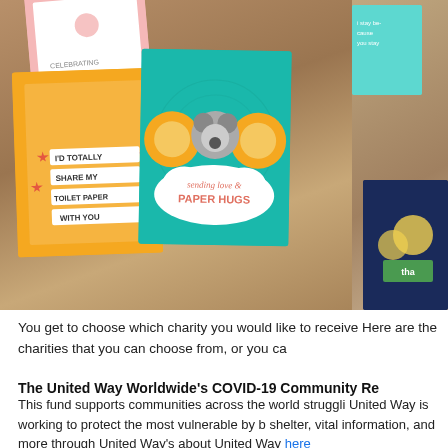[Figure (photo): Photo of handmade greeting cards on a wooden surface. Left shows a pink card with floral design, an orange/yellow card with banner strips reading 'I'D TOTALLY SHARE MY TOILET PAPER WITH YOU', and a teal card with lion and koala characters saying 'sending love & PAPER HUGS'. Right side shows partial view of a navy card and teal card.]
You get to choose which charity you would like to receive Here are the charities that you can choose from, or you ca
The United Way Worldwide's COVID-19 Community Re
This fund supports communities across the world struggli United Way is working to protect the most vulnerable by b shelter, vital information, and more through United Way's about United Way here